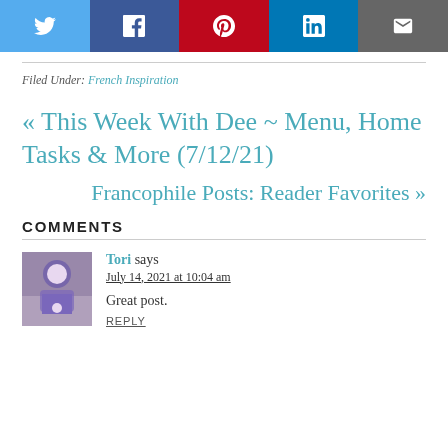[Figure (other): Social sharing buttons row: Twitter (blue), Facebook (dark blue), Pinterest (red), LinkedIn (blue), Email (gray)]
Filed Under: French Inspiration
« This Week With Dee ~ Menu, Home Tasks & More (7/12/21)
Francophile Posts: Reader Favorites »
COMMENTS
[Figure (photo): Avatar photo of commenter Tori, showing a person in purple shirt outdoors]
Tori says
July 14, 2021 at 10:04 am
Great post.
REPLY